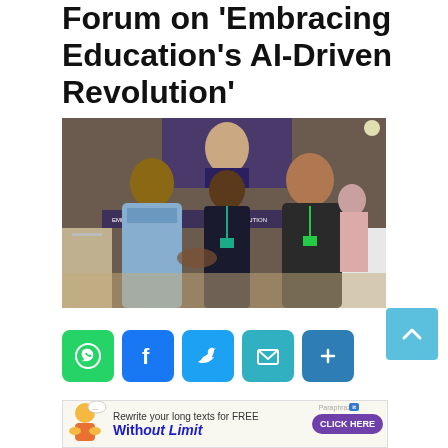Forum on 'Embracing Education's AI-Driven Revolution'
[Figure (photo): Three men at a conference venue. A man in a light blue suit shakes hands with a man in a dark suit wearing a green lanyard badge. A third man in a dark suit with a teal lanyard badge stands in the middle. A presentation screen and banners are visible in the background.]
[Figure (infographic): Social sharing buttons: WhatsApp (green), Facebook (blue), Twitter (light blue), Email (teal), Share/More (blue)]
[Figure (other): Advertisement banner: 'Rewrite your long texts for FREE Without Limit' with a CLICK HERE button and Paraphraz.it branding]